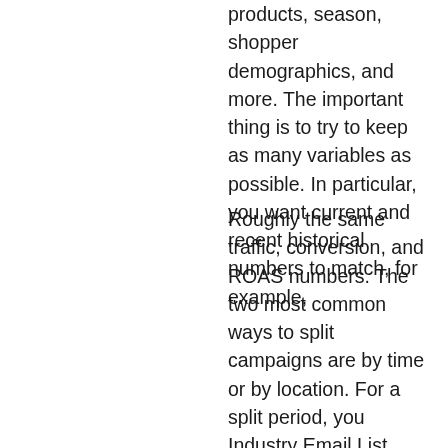products, season, shopper demographics, and more. The important thing is to try to keep as many variables as possible. In particular, you want current and recent historical numbers to match, for example,
Roughly the same traffic, conversion, and ROAS numbers. The two most common ways to split campaigns are by time or by location. For a split period, you Industry Email List duplicate the campaigns you want to use in the test, assign one to each tool/agency, and then activate them in a fixed rotation order (usually hourly). The advantage of this Industry Email List method is that it removes any seasonality or geographic concerns by ensuring that each tool/agency is working with the exact same product line over the same date range. For a geographic split, you take one of your regions, duplicate the campaigns there, and split it into two